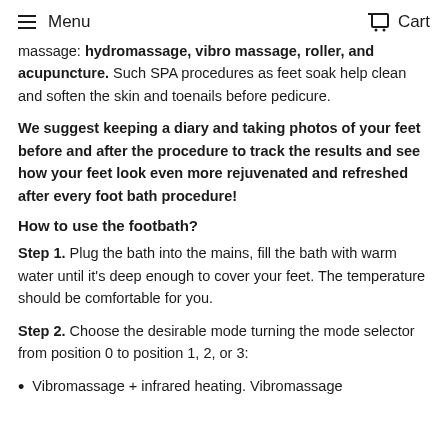Menu  Cart
massage: hydromassage, vibro massage, roller, and acupuncture. Such SPA procedures as feet soak help clean and soften the skin and toenails before pedicure.
We suggest keeping a diary and taking photos of your feet before and after the procedure to track the results and see how your feet look even more rejuvenated and refreshed after every foot bath procedure!
How to use the footbath?
Step 1. Plug the bath into the mains, fill the bath with warm water until it's deep enough to cover your feet. The temperature should be comfortable for you.
Step 2. Choose the desirable mode turning the mode selector from position 0 to position 1, 2, or 3:
Vibromassage + infrared heating. Vibromassage